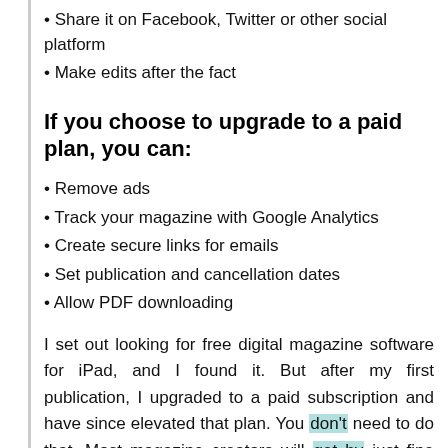• Share it on Facebook, Twitter or other social platform
• Make edits after the fact
If you choose to upgrade to a paid plan, you can:
• Remove ads
• Track your magazine with Google Analytics
• Create secure links for emails
• Set publication and cancellation dates
• Allow PDF downloading
I set out looking for free digital magazine software for iPad, and I found it. But after my first publication, I upgraded to a paid subscription and have since elevated that plan. You don't need to do that. Most magazine creators will get by just fine with the free